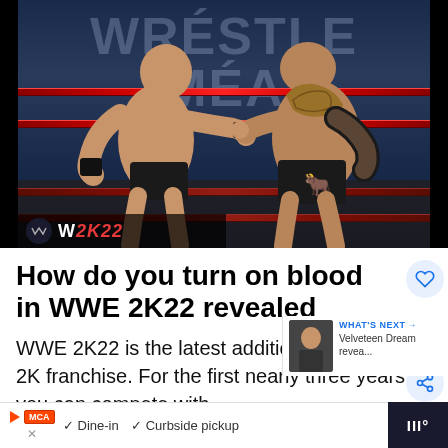[Figure (screenshot): WWE 2K22 video game screenshot showing two wrestlers (Stone Cold Steve Austin and The Rock) facing off in a wrestling ring with WrestleMania banner in the background. WWE 2K22 logo visible in bottom left corner.]
How do you turn on blood in WWE 2K22 revealed
WWE 2K22 is the latest addition to the WWE 2K franchise. For the first nearly three years you can compete with
[Figure (screenshot): What's Next panel showing a thumbnail of a person with text 'WHAT'S NEXT → Velveteen Dream revea...']
[Figure (screenshot): Advertisement bar at bottom showing MCA logo, Dine-in, Curbside pickup options with navigation arrow]